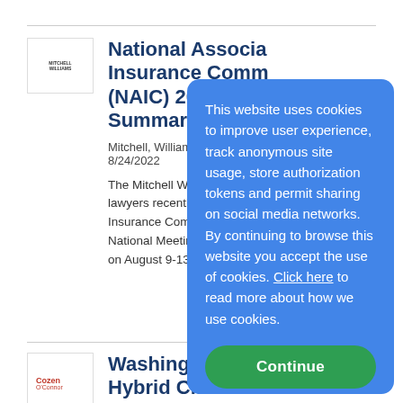[Figure (logo): Mitchell Williams law firm logo, small text in a bordered box]
National Association of Insurance Commissioners (NAIC) 2022 Summer National Meeting Summary
Mitchell, Williams, Selig, Ga... 8/24/2022
The Mitchell Williams Insurance lawyers recently attended the National Association of Insurance Commissioners (NAIC) National Meeting which was held on August 9-13th. We have...
[Figure (logo): Cozen O'Connor law firm logo in red]
Washington Supreme Court: Hybrid Claims-Made/Occurrence CGL Policy Provision Unenforceable
Cozen O'Connor on 8/24/2022
This website uses cookies to improve user experience, track anonymous site usage, store authorization tokens and permit sharing on social media networks. By continuing to browse this website you accept the use of cookies. Click here to read more about how we use cookies.